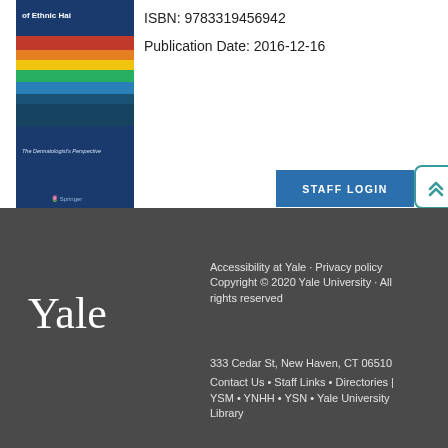[Figure (photo): Book cover for a dermatology text about ethnic hair, blue cover with colorful heat-map style image, Springer publisher logo]
ISBN: 9783319456942
Publication Date: 2016-12-16
STAFF LOGIN
Yale
Accessibility at Yale · Privacy policy
Copyright © 2020 Yale University · All rights reserved
333 Cedar St, New Haven, CT 06510
Contact Us • Staff Links • Directories | YSM • YNHH • YSN • Yale University Library